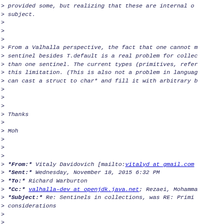> provided some, but realizing that these are internal o
> subject.
>
>
>
> From a Valhalla perspective, the fact that one cannot m
> sentinel besides T.default is a real problem for collec
> than one sentinel. The current types (primitives, refer
> this limitation. (This is also not a problem in languag
> can cast a struct to char* and fill it with arbitrary b
>
>
>
> Thanks
>
> Moh
>
>
>
> *From:* Vitaly Davidovich [mailto:vitalyd at gmail.com
> *Sent:* Wednesday, November 18, 2015 6:32 PM
> *To:* Richard Warburton
> *Cc:* valhalla-dev at openjdk.java.net; Rezaei, Mohamma
> *Subject:* Re: Sentinels in collections, was RE: Primi
> considerations
>
>
>
> I'm still unclear on how we ended up discussing interna
> are effectively implementation details.  I don't think